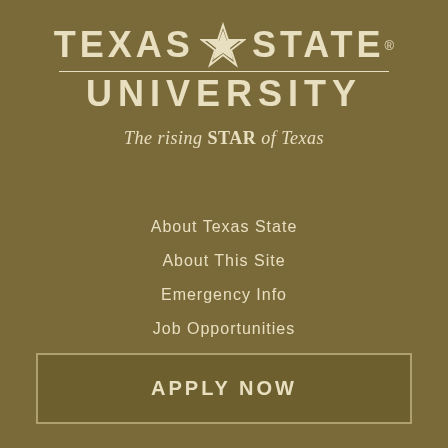[Figure (logo): Texas State University logo with star icon, horizontal rules, and university name in bold uppercase letters]
The rising STAR of Texas
About Texas State
About This Site
Emergency Info
Job Opportunities
Search Texas State
APPLY NOW